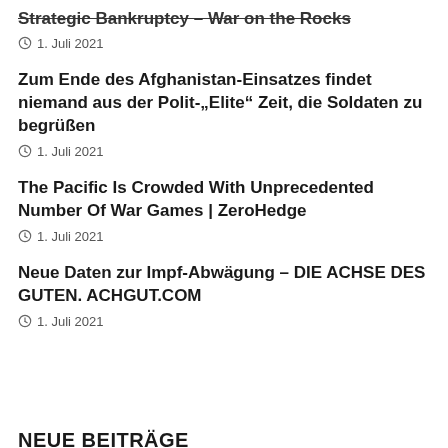Strategic Bankruptcy – War on the Rocks
1. Juli 2021
Zum Ende des Afghanistan-Einsatzes findet niemand aus der Polit-„Elite“ Zeit, die Soldaten zu begrüßen
1. Juli 2021
The Pacific Is Crowded With Unprecedented Number Of War Games | ZeroHedge
1. Juli 2021
Neue Daten zur Impf-Abwägung – DIE ACHSE DES GUTEN. ACHGUT.COM
1. Juli 2021
NEUE BEITRÄGE